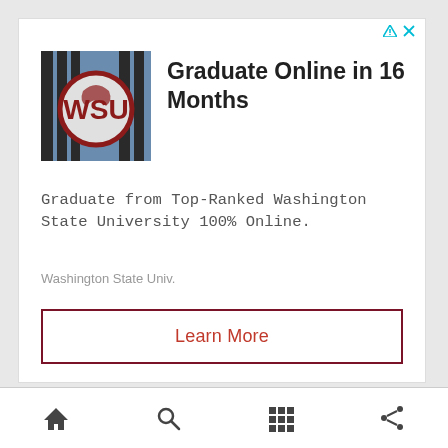[Figure (screenshot): Washington State University logo/sign photo — circular red WSU Cougar logo on a metal gate]
Graduate Online in 16 Months
Graduate from Top-Ranked Washington State University 100% Online.
Washington State Univ.
Learn More
[Figure (other): Mobile app bottom navigation bar with home, search, grid, and share icons]